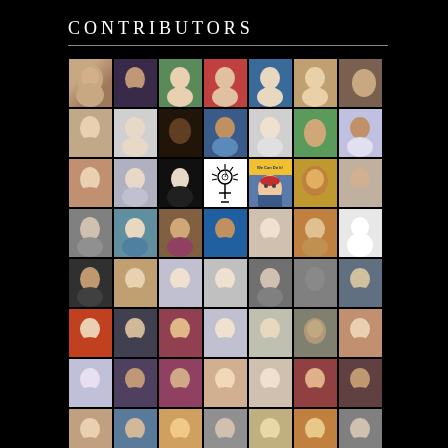CONTRIBUTORS
[Figure (photo): Grid of 56 contributor headshot photos arranged in 8 rows of 7, on a black background, including one feminist symbol icon and one 'We Can Do It!' Rosie the Riveter image.]